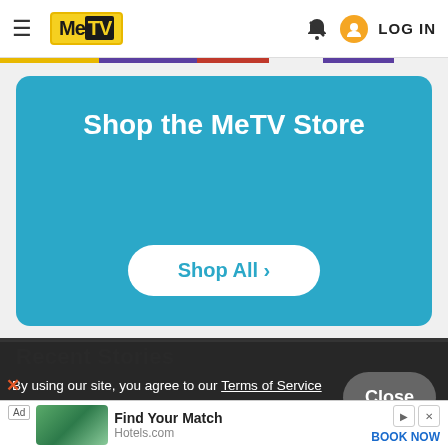MeTV — LOG IN
[Figure (screenshot): MeTV website header with hamburger menu, MeTV logo, bell icon, user icon, and LOG IN text]
Shop the MeTV Store
Shop All >
Recent Stories
By using our site, you agree to our Terms of Service and Privacy Policy
Close
Ad — Find Your Match — Hotels.com — BOOK NOW